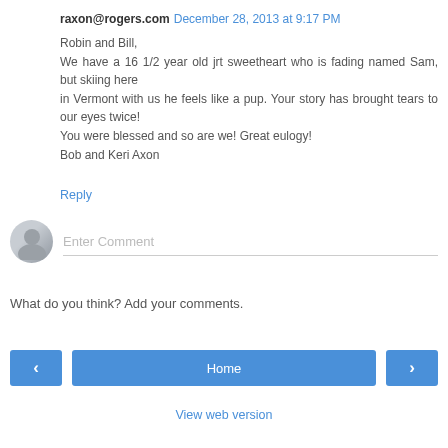raxon@rogers.com December 28, 2013 at 9:17 PM
Robin and Bill,
We have a 16 1/2 year old jrt sweetheart who is fading named Sam, but skiing here
in Vermont with us he feels like a pup. Your story has brought tears to our eyes twice!
You were blessed and so are we! Great eulogy!
Bob and Keri Axon
Reply
[Figure (other): Comment input area with avatar icon and 'Enter Comment' placeholder text field]
What do you think? Add your comments.
< Home >
View web version